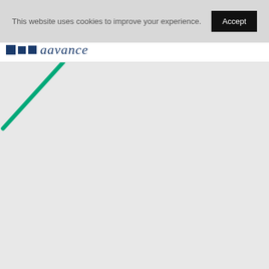This website uses cookies to improve your experience.
[Figure (logo): aavance logo with three dark navy blue squares and italic script text 'aavance']
[Figure (illustration): Green diagonal line / slash element in the upper left of the page content area]